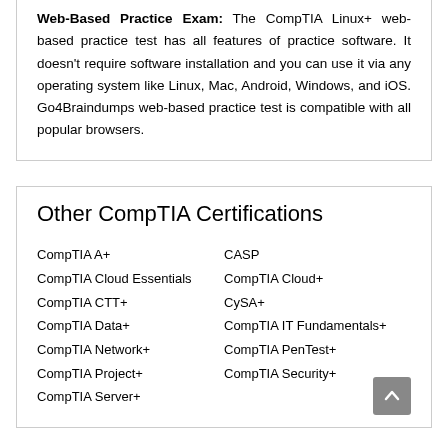Web-Based Practice Exam: The CompTIA Linux+ web-based practice test has all features of practice software. It doesn't require software installation and you can use it via any operating system like Linux, Mac, Android, Windows, and iOS. Go4Braindumps web-based practice test is compatible with all popular browsers.
Other CompTIA Certifications
CompTIA A+
CompTIA Cloud Essentials
CompTIA CTT+
CompTIA Data+
CompTIA Network+
CompTIA Project+
CompTIA Server+
CASP
CompTIA Cloud+
CySA+
CompTIA IT Fundamentals+
CompTIA PenTest+
CompTIA Security+